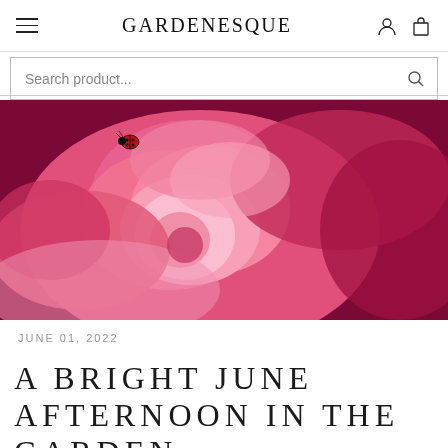GARDENESQUE
Search product...
[Figure (photo): Close-up macro photograph of a large pink peony flower in full bloom with a ladybird (ladybug) sitting on the top left petal, against a dark magenta background.]
JUNE 01, 2022
A BRIGHT JUNE AFTERNOON IN THE GARDEN